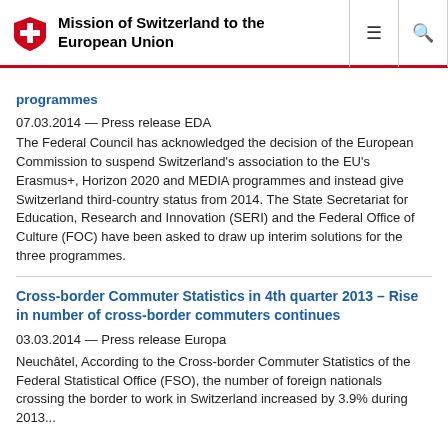Mission of Switzerland to the European Union
programmes
07.03.2014 — Press release EDA
The Federal Council has acknowledged the decision of the European Commission to suspend Switzerland's association to the EU's Erasmus+, Horizon 2020 and MEDIA programmes and instead give Switzerland third-country status from 2014. The State Secretariat for Education, Research and Innovation (SERI) and the Federal Office of Culture (FOC) have been asked to draw up interim solutions for the three programmes.
Cross-border Commuter Statistics in 4th quarter 2013 – Rise in number of cross-border commuters continues
03.03.2014 — Press release Europa
Neuchâtel, According to the Cross-border Commuter Statistics of the Federal Statistical Office (FSO), the number of foreign nationals crossing the border to work in Switzerland increased by 3.9% during 2013...